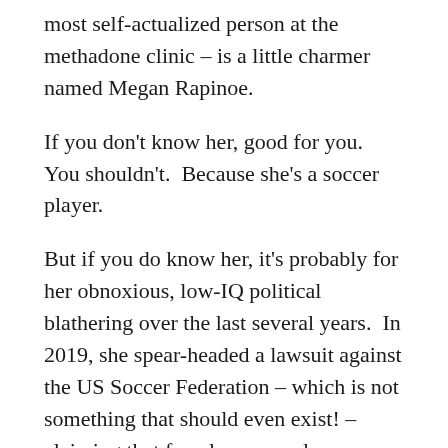most self-actualized person at the methadone clinic – is a little charmer named Megan Rapinoe.
If you don't know her, good for you.  You shouldn't.  Because she's a soccer player.
But if you do know her, it's probably for her obnoxious, low-IQ political blathering over the last several years.  In 2019, she spear-headed a lawsuit against the US Soccer Federation – which is not something that should even exist! – claiming that female soccer players are paid less than male soccer players.
There is of course a gender pay gap in most pro